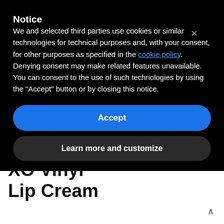Notice
We and selected third parties use cookies or similar technologies for technical purposes and, with your consent, for other purposes as specified in the cookie policy. Denying consent may make related features unavailable. You can consent to the use of such technologies by using the "Accept" button or by closing this notice.
Accept
Learn more and customize
Kat Von D Vegan Beauty: Everlasting Blush and XO Vinyl Lip Cream